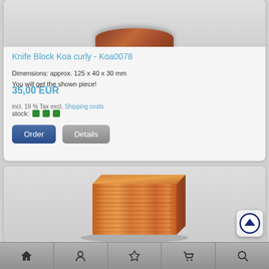[Figure (photo): Top portion of a wood knife block (koa curly wood), partially cropped]
Knife Block Koa curly - Koa0078
Dimensions: approx. 125 x 40 x 30 mm
You will get the shown piece!
35,00 EUR
incl. 19 % Tax excl. Shipping costs
stock: ●●●
[Figure (photo): A rectangular knife block made from curly koa wood, orange-brown with wavy grain patterns, photographed on white background]